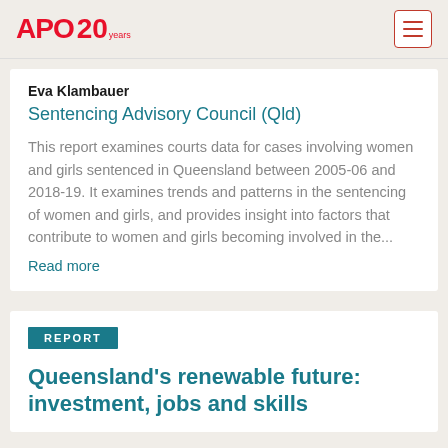APO 20 years
Eva Klambauer
Sentencing Advisory Council (Qld)
This report examines courts data for cases involving women and girls sentenced in Queensland between 2005-06 and 2018-19. It examines trends and patterns in the sentencing of women and girls, and provides insight into factors that contribute to women and girls becoming involved in the...
Read more
REPORT
Queensland's renewable future: investment, jobs and skills